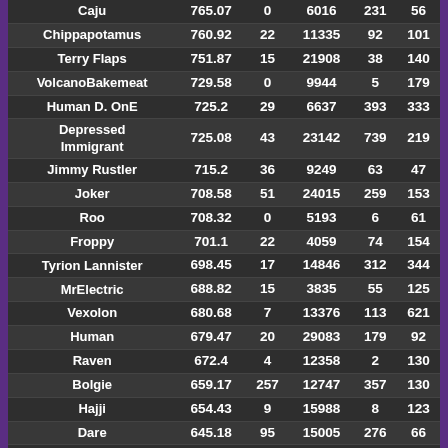| Name | Col1 | Col2 | Col3 | Col4 | Col5 |
| --- | --- | --- | --- | --- | --- |
| Caju | 765.07 | 0 | 6016 | 231 | 56 |
| Chippapotamus | 760.92 | 22 | 11335 | 92 | 101 |
| Terry Flaps | 751.87 | 15 | 21908 | 38 | 140 |
| VolcanoBakemeat | 729.58 | 0 | 9944 | 5 | 179 |
| Human D. OnE | 725.2 | 29 | 6637 | 393 | 333 |
| Depressed Immigrant | 725.08 | 43 | 23142 | 739 | 219 |
| Jimmy Rustler | 715.2 | 36 | 9249 | 63 | 47 |
| Joker | 708.58 | 51 | 24015 | 259 | 153 |
| Roo | 708.32 | 0 | 5193 | 6 | 61 |
| Froppy | 701.1 | 22 | 4059 | 74 | 154 |
| Tyrion Lannister | 698.45 | 17 | 14846 | 312 | 344 |
| MrElectric | 688.82 | 15 | 3835 | 55 | 125 |
| Vexolon | 680.68 | 7 | 13376 | 113 | 621 |
| Human | 679.47 | 20 | 29083 | 179 | 92 |
| Raven | 672.4 | 4 | 12358 | 2 | 130 |
| Bolgie | 659.17 | 257 | 12747 | 357 | 130 |
| Hajji | 654.43 | 9 | 15988 | 8 | 123 |
| Dare | 645.18 | 95 | 15005 | 276 | 66 |
| Maverick | 643.87 | 6 | 13734 | 63 | 110 |
| Lillith | 637.75 | 1 | 9864 | 13 | 166 |